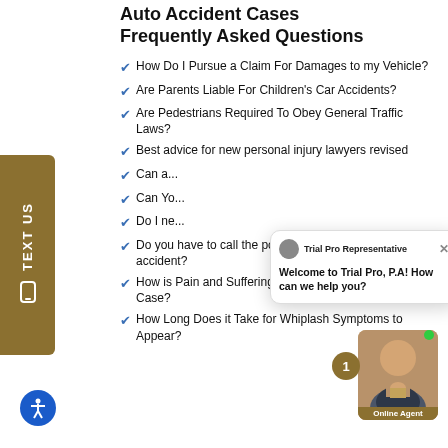Auto Accident Cases Frequently Asked Questions
How Do I Pursue a Claim For Damages to my Vehicle?
Are Parents Liable For Children's Car Accidents?
Are Pedestrians Required To Obey General Traffic Laws?
Best advice for new personal injury lawyers revised
Can a...
Can Yo...
Do I ne...
Do you have to call the police after a minor car accident?
How is Pain and Suffering Determined in an Accident Case?
How Long Does it Take for Whiplash Symptoms to Appear?
[Figure (screenshot): Chat popup from Trial Pro Representative saying 'Welcome to Trial Pro, P.A! How can we help you?' with close button]
[Figure (photo): Online Agent photo with green dot and notification badge showing number 1]